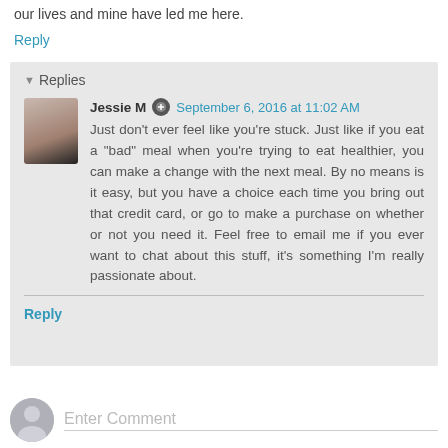our lives and mine have led me here.
Reply
▼ Replies
Jessie M  September 6, 2016 at 11:02 AM
Just don't ever feel like you're stuck. Just like if you eat a "bad" meal when you're trying to eat healthier, you can make a change with the next meal. By no means is it easy, but you have a choice each time you bring out that credit card, or go to make a purchase on whether or not you need it. Feel free to email me if you ever want to chat about this stuff, it's something I'm really passionate about.
Reply
Enter Comment